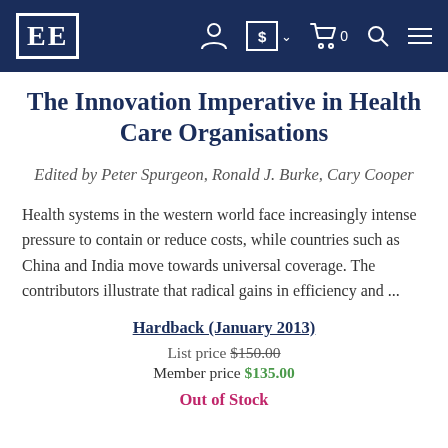EE (logo) — navigation header with account, currency, cart, search, menu icons
The Innovation Imperative in Health Care Organisations
Edited by Peter Spurgeon, Ronald J. Burke, Cary Cooper
Health systems in the western world face increasingly intense pressure to contain or reduce costs, while countries such as China and India move towards universal coverage. The contributors illustrate that radical gains in efficiency and ...
Hardback (January 2013)
List price $150.00
Member price $135.00
Out of Stock